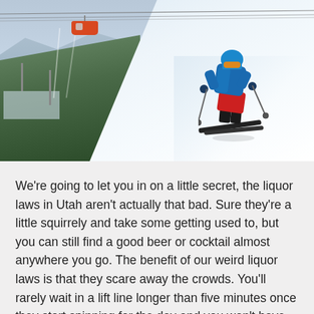[Figure (photo): A skier in a blue jacket and red pants carving down a snow-covered slope. A red gondola cable car is visible in the upper left against a backdrop of snow-covered mountains, pine trees, and a valley town below.]
We're going to let you in on a little secret, the liquor laws in Utah aren't actually that bad. Sure they're a little squirrely and take some getting used to, but you can still find a good beer or cocktail almost anywhere you go. The benefit of our weird liquor laws is that they scare away the crowds. You'll rarely wait in a lift line longer than five minutes once they start spinning for the day and you won't have to fight everyone from the states of California and Texas for fresh powder after